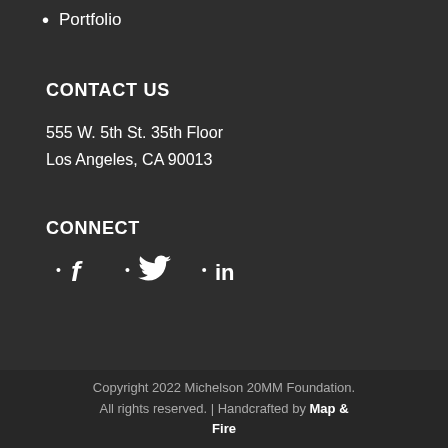Portfolio
CONTACT US
555 W. 5th St. 35th Floor
Los Angeles, CA 90013
CONNECT
• f  • [twitter bird]  • in
Copyright 2022 Michelson 20MM Foundation. All rights reserved. | Handcrafted by Map & Fire